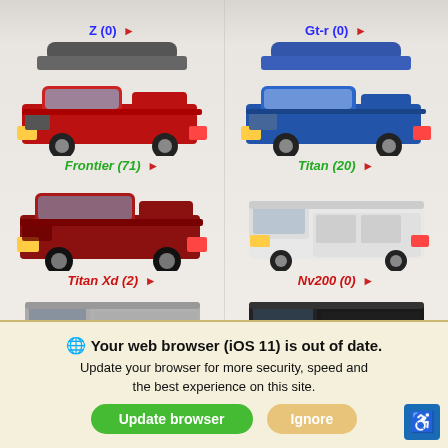[Figure (screenshot): Nissan vehicle model listing page showing 6 vehicle models in a 2-column grid: Z (0), Gt-r (0) at top (partially cropped), Frontier (71), Titan (20), Titan Xd (2), Nv200 (0), and two vans at the bottom (partially cropped). Labels in blue, green, or red italic bold with arrow icons and counts.]
Your web browser (iOS 11) is out of date. Update your browser for more security, speed and the best experience on this site.
Update browser
Ignore